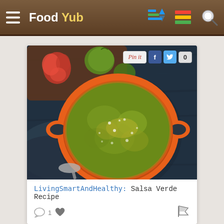Food Yub
[Figure (photo): Overhead photo of a green salsa verde in an orange ceramic bowl with handles, surrounded by tomatillos, a red pepper, green chili, and a spoon on a dark background.]
LivingSmartAndHealthy: Salsa Verde Recipe
1